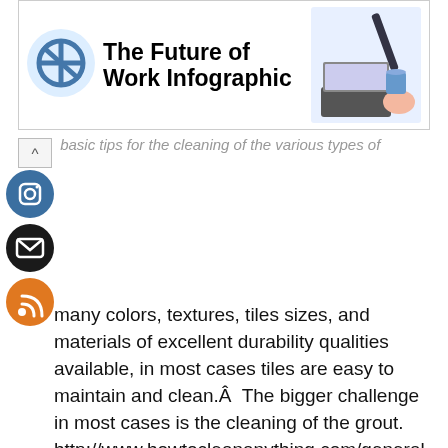[Figure (screenshot): Advertisement banner: 'The Future of Work Infographic' with a circular logo on left and laptop/coffee graphic on right]
basic tips for the cleaning of the various types of
[Figure (illustration): Social media icons: Instagram (blue circle) and RSS feed (orange circle) on the left side]
many colors, textures, tiles sizes, and materials of excellent durability qualities available, in most cases tiles are easy to maintain and clean.Â  The bigger challenge in most cases is the cleaning of the grout. http://www.howtocleananything.com/general-cleaning-tips/grout-cleaning/